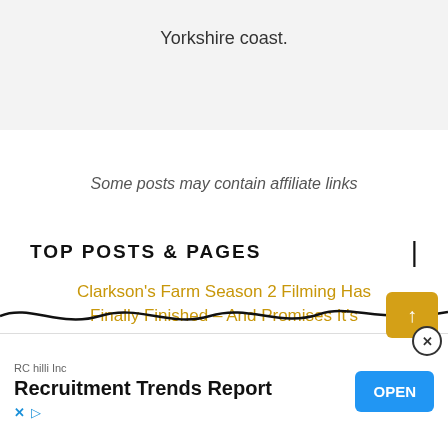Yorkshire coast.
Some posts may contain affiliate links
TOP POSTS & PAGES
Clarkson's Farm Season 2 Filming Has Finally Finished – And Promises It's…
[Figure (screenshot): Advertisement banner: RC hilli Inc – Recruitment Trends Report with OPEN button]
[Figure (infographic): Scroll-to-top yellow button with up arrow and close X button overlay]